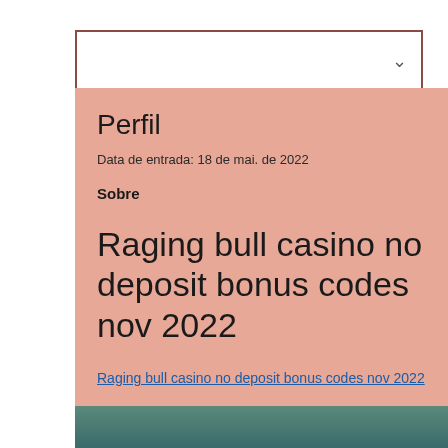[Figure (screenshot): White dropdown/search bar with chevron icon and dark pink border]
Perfil
Data de entrada: 18 de mai. de 2022
Sobre
Raging bull casino no deposit bonus codes nov 2022
Raging bull casino no deposit bonus codes nov 2022
[Figure (photo): Partial image at bottom, appears to be a colorful photo with teal/blue tones]